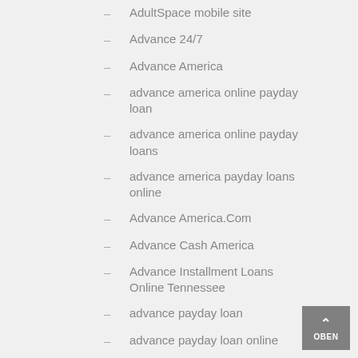AdultSpace mobile site
Advance 24/7
Advance America
advance america online payday loan
advance america online payday loans
advance america payday loans online
Advance America.Com
Advance Cash America
Advance Installment Loans Online Tennessee
advance payday loan
advance payday loan online